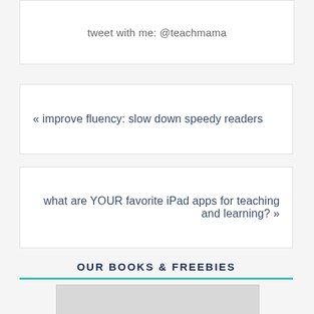tweet with me: @teachmama
« improve fluency: slow down speedy readers
what are YOUR favorite iPad apps for teaching and learning? »
OUR BOOKS & FREEBIES
[Figure (photo): Partial view of a book cover showing authors 'Amy Mascott • Allison McDonald' and title 'Setting the Stage']